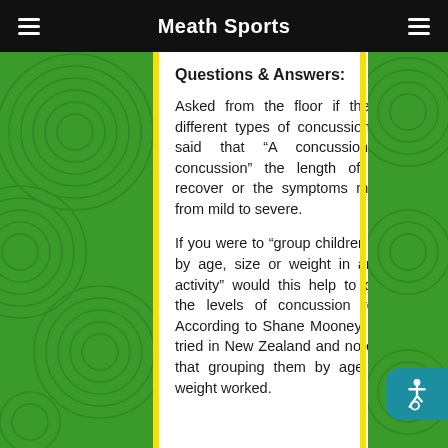Meath Sports
Questions & Answers:
Asked from the floor if there were different types of concussion, Shane said that “A concussion is a concussion” the length of time to recover or the symptoms may differ from mild to severe.
If you were to “group children together by age, size or weight in any given activity” would this help to decrease the levels of concussion reported? According to Shane Mooney, this was tried in New Zealand and no evidence that grouping them by age, size or weight worked.